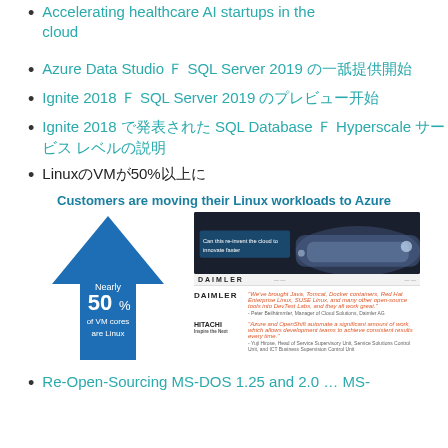Accelerating healthcare AI startups in the cloud
Azure Data Studio と SQL Server 2019 の一般提供開始
Ignite 2018 で SQL Server 2019 のプレビュー開始
Ignite 2018 で発表された SQL Database の Hyperscale サービス レベルの説明
Linux の VM が 50% 以上に
[Figure (infographic): Infographic showing 'Customers are moving their Linux workloads to Azure' with a large blue upward arrow showing 'Nearly 50% of VM cores are Linux' and a Daimler case study with quotes from Daimler and Hitachi.]
Re-Open-Sourcing MS-DOS 1.25 and 2.0 … MS-